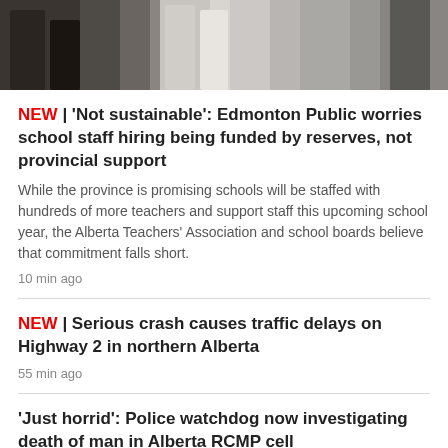[Figure (photo): Cropped photo showing lower bodies of people standing, partial legs and clothing visible]
NEW | 'Not sustainable': Edmonton Public worries school staff hiring being funded by reserves, not provincial support
While the province is promising schools will be staffed with hundreds of more teachers and support staff this upcoming school year, the Alberta Teachers' Association and school boards believe that commitment falls short.
10 min ago
NEW | Serious crash causes traffic delays on Highway 2 in northern Alberta
55 min ago
'Just horrid': Police watchdog now investigating death of man in Alberta RCMP cell